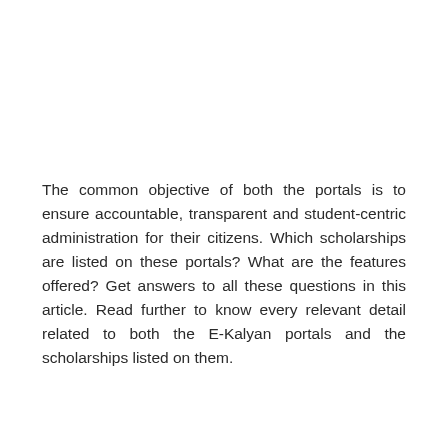The common objective of both the portals is to ensure accountable, transparent and student-centric administration for their citizens. Which scholarships are listed on these portals? What are the features offered? Get answers to all these questions in this article. Read further to know every relevant detail related to both the E-Kalyan portals and the scholarships listed on them.